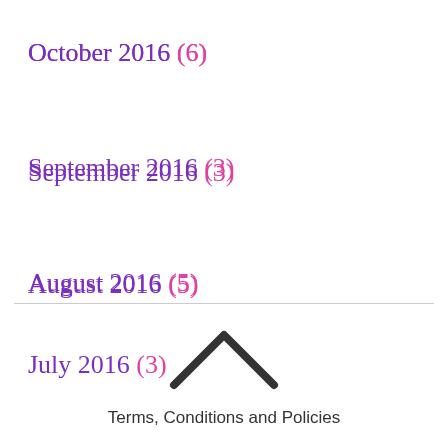October 2016 (6)
September 2016 (3)
August 2016 (5)
July 2016 (3)
[Figure (other): Up arrow chevron icon for back to top]
Terms, Conditions and Policies